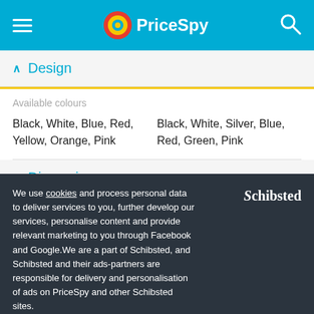PriceSpy
Design
Available colours
Black, White, Blue, Red, Yellow, Orange, Pink
Black, White, Silver, Blue, Red, Green, Pink
Dimensions
Product weight
We use cookies and process personal data to deliver services to you, further develop our services, personalise content and provide relevant marketing to you through Facebook and Google.We are a part of Schibsted, and Schibsted and their ads-partners are responsible for delivery and personalisation of ads on PriceSpy and other Schibsted sites.
Accept
My options